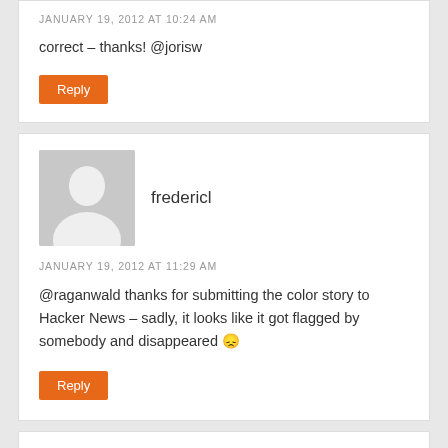JANUARY 19, 2012 AT 10:24 AM
correct – thanks! @jorisw
Reply
fredericl
JANUARY 19, 2012 AT 11:29 AM
@raganwald thanks for submitting the color story to Hacker News – sadly, it looks like it got flagged by somebody and disappeared 😕
Reply
popo1
JANUARY 20, 2012 AT 9:41 AM